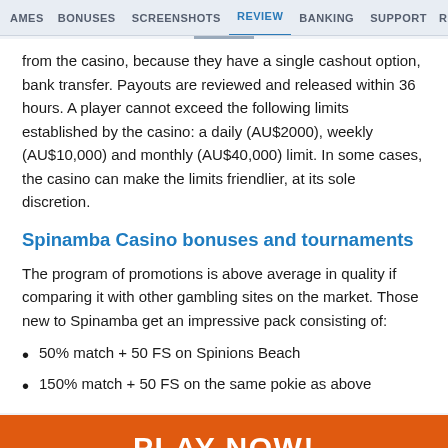AMES  BONUSES  SCREENSHOTS  REVIEW  BANKING  SUPPORT  RELATED CA
from the casino, because they have a single cashout option, bank transfer. Payouts are reviewed and released within 36 hours. A player cannot exceed the following limits established by the casino: a daily (AU$2000), weekly (AU$10,000) and monthly (AU$40,000) limit. In some cases, the casino can make the limits friendlier, at its sole discretion.
Spinamba Casino bonuses and tournaments
The program of promotions is above average in quality if comparing it with other gambling sites on the market. Those new to Spinamba get an impressive pack consisting of:
50% match + 50 FS on Spinions Beach
150% match + 50 FS on the same pokie as above
[Figure (other): Orange PLAY NOW! button]
Get 50% bonus on your first deposit!